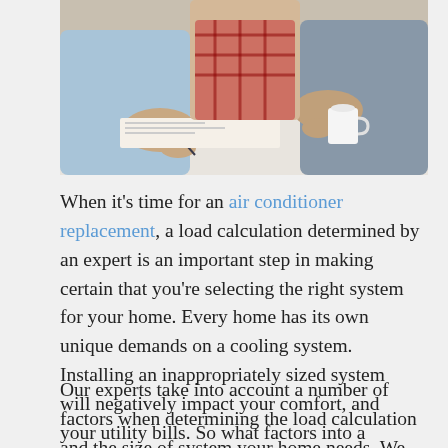[Figure (photo): Two people sitting at a table reviewing documents; one person holds a pen and the other holds a white mug. Partial view showing torsos and hands.]
When it's time for an air conditioner replacement, a load calculation determined by an expert is an important step in making certain that you're selecting the right system for your home. Every home has its own unique demands on a cooling system. Installing an inappropriately sized system will negatively impact your comfort, and your utility bills. So what factors into a home's load calculation?
Our experts take into account a number of factors when determining the load calculation and the size of system your home needs. We look at factors such as: the climate of your town, square footage of your home, design,